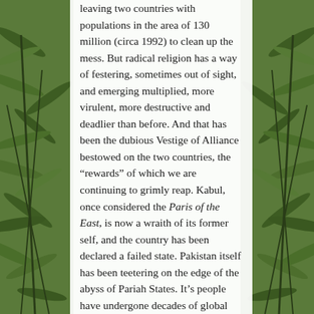[Figure (photo): Background photo of tropical palm/bamboo foliage visible on the left and right edges of the page, framing a central white text area.]
leaving two countries with populations in the area of 130 million (circa 1992) to clean up the mess. But radical religion has a way of festering, sometimes out of sight, and emerging multiplied, more virulent, more destructive and deadlier than before. And that has been the dubious Vestige of Alliance bestowed on the two countries, the “rewards” of which we are continuing to grimly reap. Kabul, once considered the Paris of the East, is now a wraith of its former self, and the country has been declared a failed state. Pakistan itself has been teetering on the edge of the abyss of Pariah States. It’s people have undergone decades of global dismissal at best and damnation at worst. Despite being the fifth most populous country in the world and a nuclear power, it